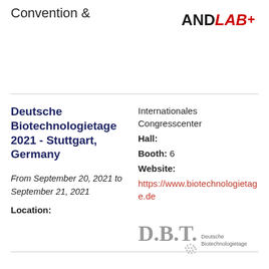Convention &
[Figure (logo): ANDLAB logo in red and dark text, partially visible at top right]
Deutsche Biotechnologietage 2021 - Stuttgart, Germany
From September 20, 2021 to September 21, 2021
Location:
Internationales Congresscenter Hall: Booth: 6 Website: https://www.biotechnologietage.de
[Figure (logo): D.B.T. Deutsche Biotechnologietage logo with dots pattern]